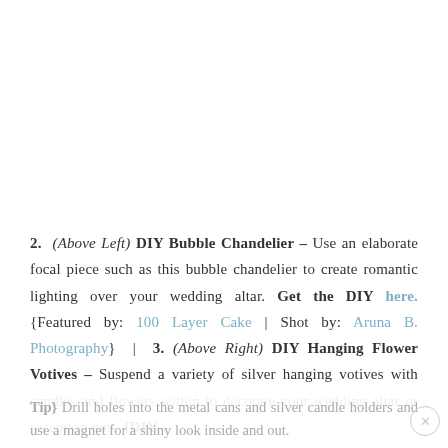2. (Above Left) DIY Bubble Chandelier – Use an elaborate focal piece such as this bubble chandelier to create romantic lighting over your wedding altar. Get the DIY here. {Featured by: 100 Layer Cake | Shot by: Aruna B. Photography} | 3. (Above Right) DIY Hanging Flower Votives – Suspend a variety of silver hanging votives with candles and flowers within to decorate your wedding altar or reception tent. {DIY Tip} Drill holes into the metal cans and silver candle holders and use a magnet for a shiny look inside and out.